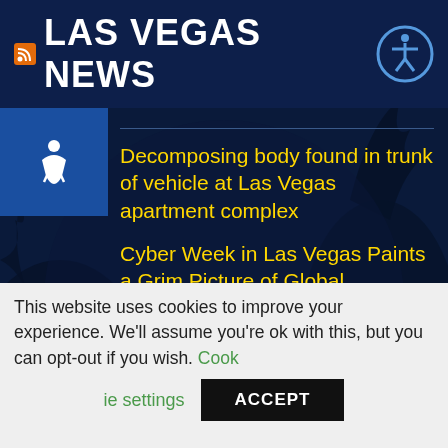LAS VEGAS NEWS
Decomposing body found in trunk of vehicle at Las Vegas apartment complex
Cyber Week in Las Vegas Paints a Grim Picture of Global Cybersecurity
High school football: Corner Canyon walloped in visit to Las Vegas powerhouse Bishop Gorman
Family of 6-year-old boy killed in hit-and-run at Las Vegas apartment complex goes...
This website uses cookies to improve your experience. We'll assume you're ok with this, but you can opt-out if you wish. Cookie settings ACCEPT